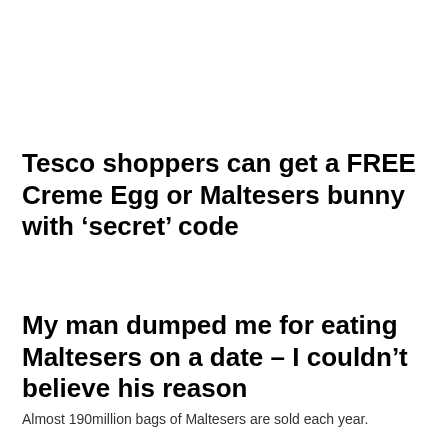Tesco shoppers can get a FREE Creme Egg or Maltesers bunny with ‘secret’ code
My man dumped me for eating Maltesers on a date – I couldn’t believe his reason
Almost 190million bags of Maltesers are sold each year.